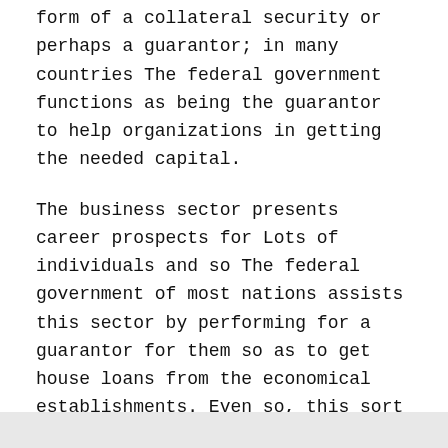form of a collateral security or perhaps a guarantor; in many countries The federal government functions as being the guarantor to help organizations in getting the needed capital.
The business sector presents career prospects for Lots of individuals and so The federal government of most nations assists this sector by performing for a guarantor for them so as to get house loans from the economical establishments. Even so, this sort of help is only delivered immediately after undertaking a danger analysis over the task for which the money is necessary.
Report this page